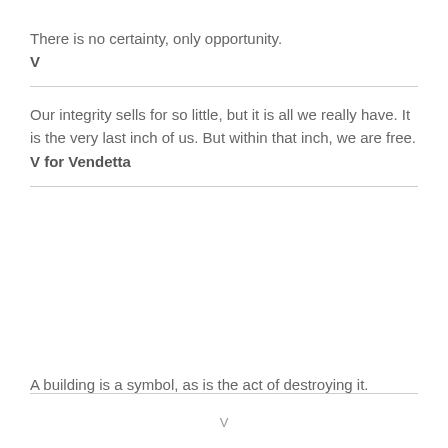There is no certainty, only opportunity.
V
Our integrity sells for so little, but it is all we really have. It is the very last inch of us. But within that inch, we are free.
V for Vendetta
A building is a symbol, as is the act of destroying it.
V